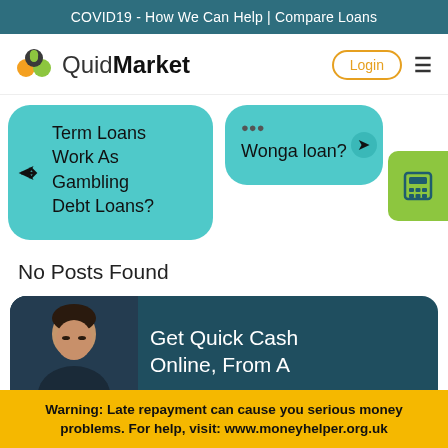COVID19 - How We Can Help | Compare Loans
[Figure (logo): QuidMarket logo with three colored circles icon]
Term Loans Work As Gambling Debt Loans?
Wonga loan?
No Posts Found
Get Quick Cash Online, From A
Warning: Late repayment can cause you serious money problems. For help, visit: www.moneyhelper.org.uk